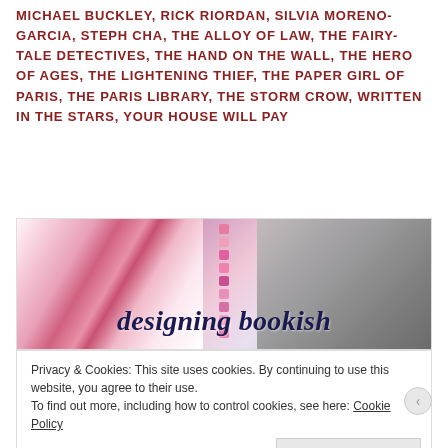MICHAEL BUCKLEY, RICK RIORDAN, SILVIA MORENO-GARCIA, STEPH CHA, THE ALLOY OF LAW, THE FAIRY-TALE DETECTIVES, THE HAND ON THE WALL, THE HERO OF AGES, THE LIGHTENING THIEF, THE PAPER GIRL OF PARIS, THE PARIS LIBRARY, THE STORM CROW, WRITTEN IN THE STARS, YOUR HOUSE WILL PAY
[Figure (photo): Banner image for 'designing bookish' blog/website showing colorful tulips/flowers on the left, a stack of colorful macarons in the center, and a laptop keyboard on the right, with the cursive text 'designing bookish' overlaid in dark navy.]
Privacy & Cookies: This site uses cookies. By continuing to use this website, you agree to their use.
To find out more, including how to control cookies, see here: Cookie Policy
Close and accept